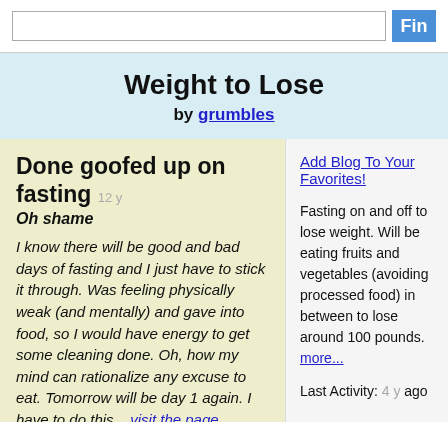Find [search bar]
Weight to Lose
by grumbles
Done goofed up on fasting  12 y
Oh shame
I know there will be good and bad days of fasting and I just have to stick it through. Was feeling physically weak (and mentally) and gave into food, so I would have energy to get some cleaning done. Oh, how my mind can rationalize any excuse to eat. Tomorrow will be day 1 again. I have to do this.   visit the page
Add Blog To Your Favorites!
Fasting on and off to lose weight. Will be eating fruits and vegetables (avoiding processed food) in between to lose around 100 pounds. more...
Last Activity: 4 y ago